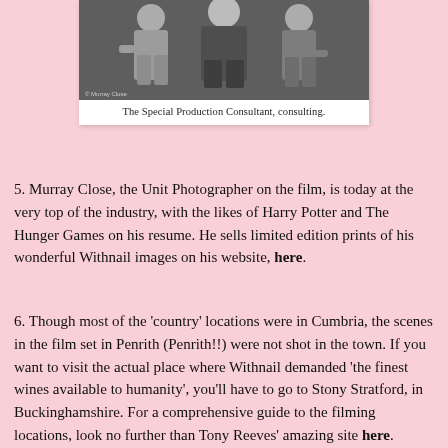[Figure (photo): Black and white photograph of three people standing together, with a photo credit '© Murray Close' in the lower left corner.]
The Special Production Consultant, consulting.
5. Murray Close, the Unit Photographer on the film, is today at the very top of the industry, with the likes of Harry Potter and The Hunger Games on his resume. He sells limited edition prints of his wonderful Withnail images on his website, here.
6. Though most of the 'country' locations were in Cumbria, the scenes in the film set in Penrith (Penrith!!) were not shot in the town. If you want to visit the actual place where Withnail demanded 'the finest wines available to humanity', you'll have to go to Stony Stratford, in Buckinghamshire. For a comprehensive guide to the filming locations, look no further than Tony Reeves' amazing site here.